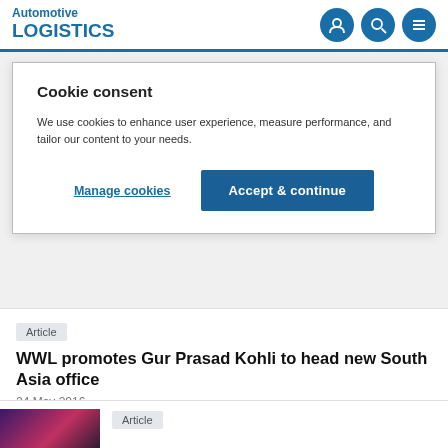Automotive LOGISTICS
Cookie consent
We use cookies to enhance user experience, measure performance, and tailor our content to your needs.
Manage cookies | Accept & continue
Article
WWL promotes Gur Prasad Kohli to head new South Asia office
24 May 2016
Article